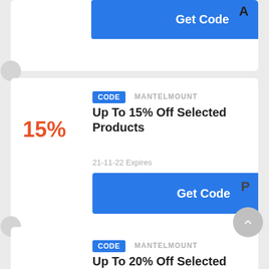[Figure (screenshot): Partial top coupon card showing a blue Get Code button with letter A partially visible]
CODE  MANTELMOUNT
Up To 15% Off Selected Products
15%
21-11-22 Expires
Get Code
CODE  MANTELMOUNT
Up To 20% Off Selected Products
20%
21-11-22 Expires
Get Code